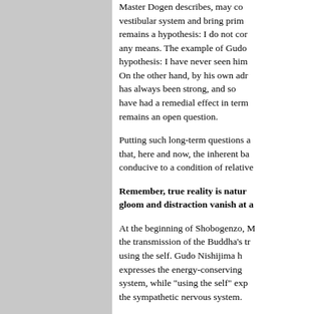Master Dogen describes, may affect the vestibular system and bring prim... remains a hypothesis: I do not cor... any means. The example of Gudo hypothesis: I have never seen him On the other hand, by his own adr has always been strong, and so have had a remedial effect in term remains an open question.
Putting such long-term questions a... that, here and now, the inherent ba... conducive to a condition of relative...
Remember, true reality is natur... gloom and distraction vanish at a...
At the beginning of Shobogenzo, M... the transmission of the Buddha's tr... using the self. Gudo Nishijima h... expresses the energy-conserving ... system, while "using the self" exp... the sympathetic nervous system.
When the sympathetic nervous sys... we are worrying about something...